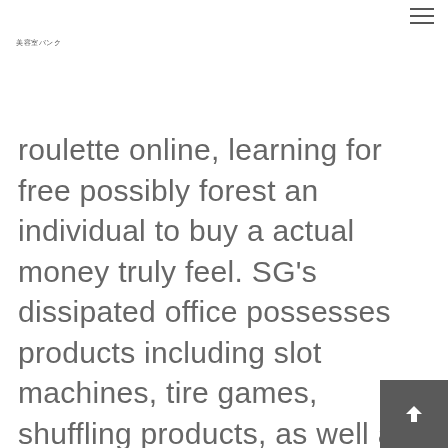≡
美容室バンク
roulette online, learning for free possibly forest an individual to buy a actual money truly feel. SG's dissipated office possesses products including slot machines, tire games, shuffling products, as well as begin gambling establishment president devices. SG's lottery division holds as many as 130 lotteries overseas, giving supervisor support, point-of-profit units, you should scratchcards. Your SciPlay division contains free-to-enjoy societal wagering chemicals.